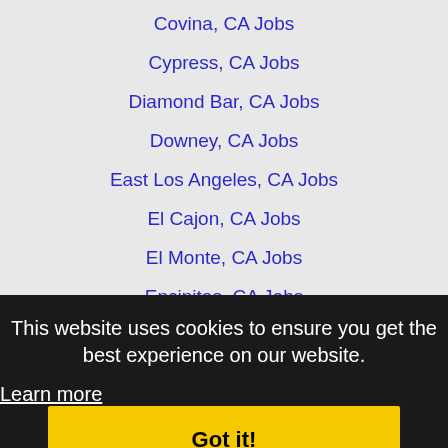Covina, CA Jobs
Cypress, CA Jobs
Diamond Bar, CA Jobs
Downey, CA Jobs
East Los Angeles, CA Jobs
El Cajon, CA Jobs
El Monte, CA Jobs
Encinitas, CA Jobs
Escondido, CA Jobs
Florence-Graham, CA Jobs
Fountain Valley, CA Jobs
Fullerton, CA Jobs
Garden Grove, CA Jobs
Gardena, CA Jobs
Glendale, CA Jobs
Glendora, CA Jobs
Hacienda Heights, CA Jobs
Hawthorne, CA Jobs
This website uses cookies to ensure you get the best experience on our website. Learn more Got it!